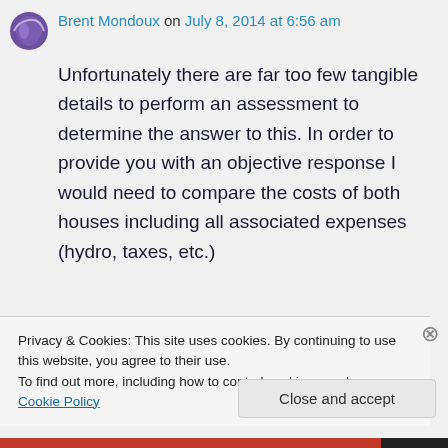Brent Mondoux on July 8, 2014 at 6:56 am
Unfortunately there are far too few tangible details to perform an assessment to determine the answer to this. In order to provide you with an objective response I would need to compare the costs of both houses including all associated expenses (hydro, taxes, etc.)
Privacy & Cookies: This site uses cookies. By continuing to use this website, you agree to their use.
To find out more, including how to control cookies, see here: Cookie Policy
Close and accept